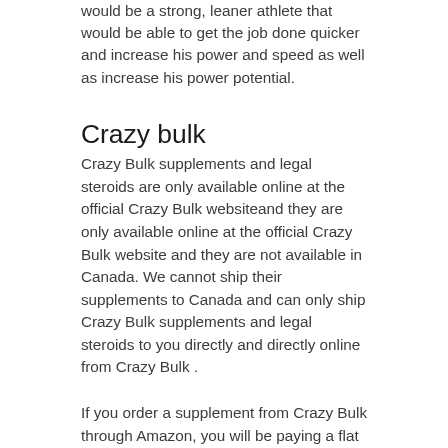would be a strong, leaner athlete that would be able to get the job done quicker and increase his power and speed as well as increase his power potential.
Crazy bulk
Crazy Bulk supplements and legal steroids are only available online at the official Crazy Bulk websiteand they are only available online at the official Crazy Bulk website and they are not available in Canada. We cannot ship their supplements to Canada and can only ship Crazy Bulk supplements and legal steroids to you directly and directly online from Crazy Bulk .
If you order a supplement from Crazy Bulk through Amazon, you will be paying a flat shipping rate that is $15.95. To prevent this, click here to follow the easy process to order